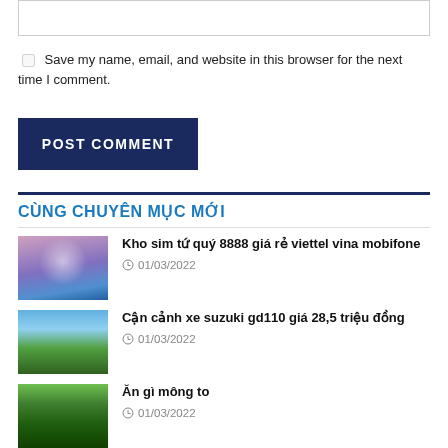[textarea input box]
Save my name, email, and website in this browser for the next time I comment.
POST COMMENT
CÙNG CHUYÊN MỤC MỚI
Kho sim tứ quý 8888 giá rẻ viettel vina mobifone
01/03/2022
Cận cảnh xe suzuki gd110 giá 28,5 triệu đồng
01/03/2022
Ăn gì mông to
01/03/2022